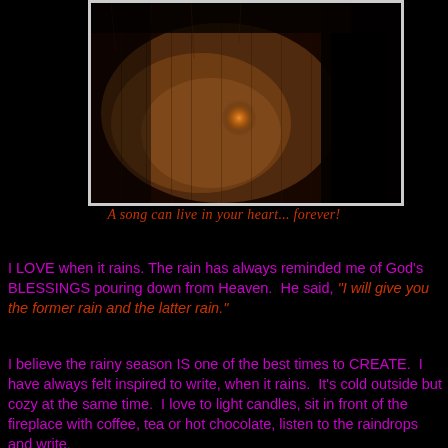[Figure (photo): Dark atmospheric photo showing a rain-covered window or surface with a silhouette, warm brownish tones with a glowing light spot in the center, framed with a light border]
A song can live in your heart... forever!
I LOVE when it rains. The rain has always reminded me of God's BLESSINGS pouring down from Heaven.  He said, "I will give you the former rain and the latter rain."
I believe the rainy season IS one of the best times to CREATE.  I have always felt inspired to write, when it rains.  It's cold outside but cozy at the same time.  I love to light candles, sit in front of the fireplace with coffee, tea or hot chocolate, listen to the raindrops and write.